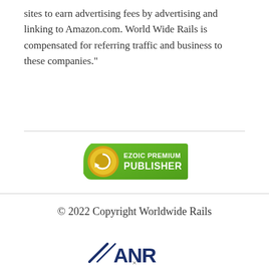sites to earn advertising fees by advertising and linking to Amazon.com. World Wide Rails is compensated for referring traffic and business to these companies."
[Figure (logo): Ezoic Premium Publisher badge — green shield shape with gold circle containing stylized 'e' icon on left, white text 'EZOIC PREMIUM PUBLISHER' on right]
© 2022 Copyright Worldwide Rails
[Figure (logo): ANR logo — stylized dark navy blue 'ANR' text with a diagonal slash/wing element on the left side]
×